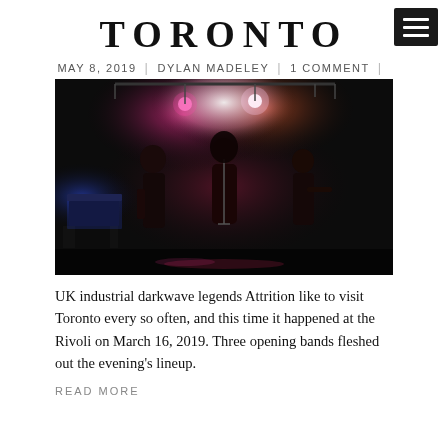TORONTO
MAY 8, 2019 | DYLAN MADELEY | 1 COMMENT |
[Figure (photo): Concert photo of Attrition performing live on a dark stage with red and pink stage lighting. A female vocalist stands center stage at a microphone, flanked by other band members. Stage equipment and a keyboard are visible on the left.]
UK industrial darkwave legends Attrition like to visit Toronto every so often, and this time it happened at the Rivoli on March 16, 2019. Three opening bands fleshed out the evening's lineup.
READ MORE